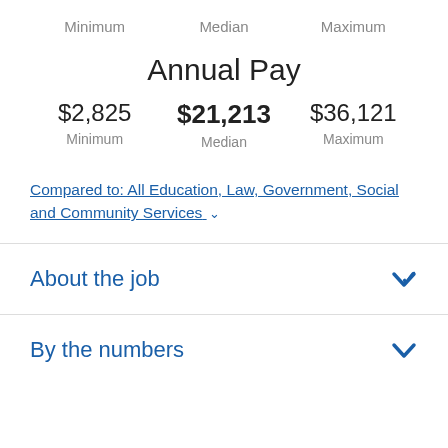Minimum   Median   Maximum
Annual Pay
| Minimum | Median | Maximum |
| --- | --- | --- |
| $2,825 | $21,213 | $36,121 |
Compared to: All Education, Law, Government, Social and Community Services ∨
About the job
By the numbers